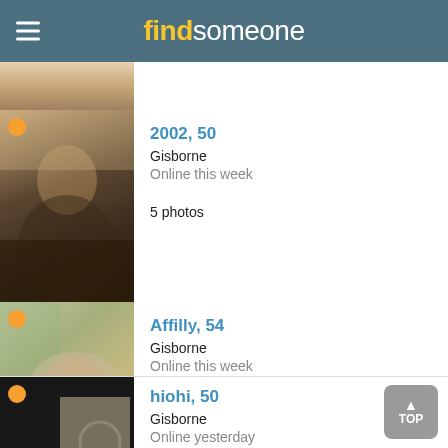find someone
[Figure (photo): Profile photo of user 2002, two women in a relaxed indoor setting]
2002, 50
Gisborne
Online this week
5 photos
[Figure (photo): Profile photo of Affilly, a smiling older woman with glasses and short blonde hair]
Affilly, 54
Gisborne
Online this week
3 photos
[Figure (photo): Partial profile photo of hiohi, partially visible]
hiohi, 50
Gisborne
Online yesterday
4 photos